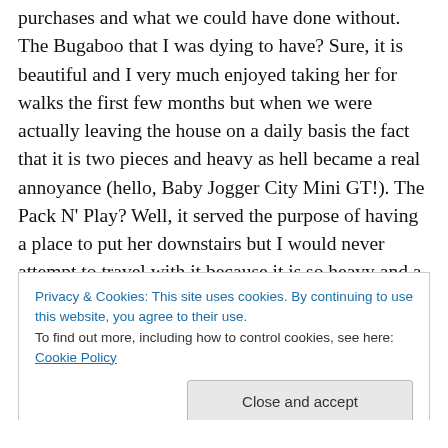purchases and what we could have done without. The Bugaboo that I was dying to have? Sure, it is beautiful and I very much enjoyed taking her for walks the first few months but when we were actually leaving the house on a daily basis the fact that it is two pieces and heavy as hell became a real annoyance (hello, Baby Jogger City Mini GT!). The Pack N' Play? Well, it served the purpose of having a place to put her downstairs but I would never attempt to travel with it because it is so heavy and a real pain to take down and put up (enter the Lotus Travel Crib,
Privacy & Cookies: This site uses cookies. By continuing to use this website, you agree to their use.
To find out more, including how to control cookies, see here: Cookie Policy